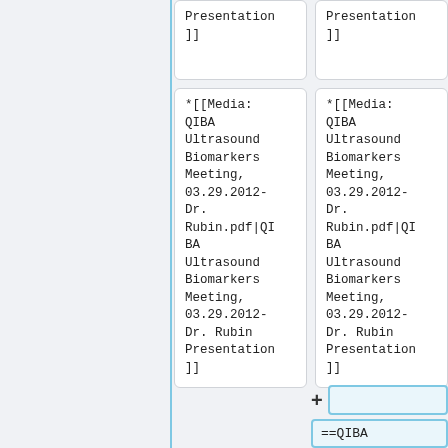*[[Media:QIBA Ultrasound Biomarkers Meeting, 03.29.2012-Dr.Rubin.pdf|QIBA Ultrasound Biomarkers Meeting, 03.29.2012-Dr. Rubin Presentation]]
*[[Media:QIBA Ultrasound Biomarkers Meeting, 03.29.2012-Dr.Rubin.pdf|QIBA Ultrasound Biomarkers Meeting, 03.29.2012-Dr. Rubin Presentation]]
*[[Media:QIBA Ultrasound Biomarkers Meeting, 03.29.2012-Dr.Rubin.pdf|QIBA Ultrasound Biomarkers Meeting, 03.29.2012-Dr. Rubin Presentation]]
*[[Media:QIBA Ultrasound Biomarkers Meeting, 03.29.2012-Dr.Rubin.pdf|QIBA Ultrasound Biomarkers Meeting, 03.29.2012-Dr. Rubin Presentation]]
+
==QIBA